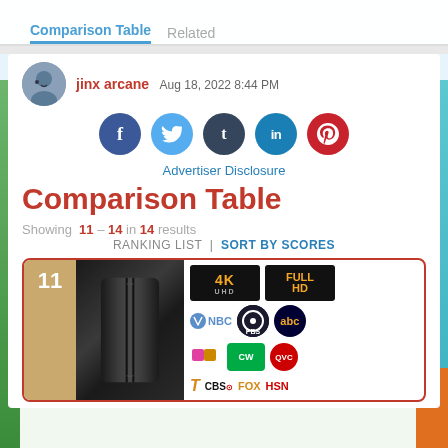Comparison Table | Related
jinx arcane  Aug 18, 2022 8:44 PM
[Figure (illustration): Social share buttons: Facebook, Twitter, Tumblr, LinkedIn, Pinterest]
Advertiser Disclosure
Comparison Table
Showing 11 - 14 in 14 results
RANKING LIST | SORT BY SCORES
[Figure (photo): Product card #11 showing a black streaming device with channel logos: 4K UHD, Full HD, NBC, PBS, abc, Univision, CW, QVC, Telemundo, CBS, FOX, HSN]